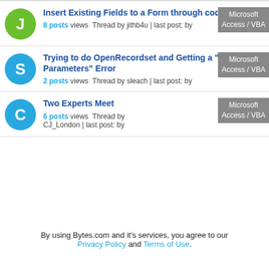Insert Existing Fields to a Form through code or macro — 8 posts views Thread by jithb4u | last post: by — Tag: Microsoft Access / VBA
Trying to do OpenRecordset and Getting a "Too Few Parameters" Error — 2 posts views Thread by sleach | last post: by — Tag: Microsoft Access / VBA
Two Experts Meet — 6 posts views Thread by CJ_London | last post: by — Tag: Microsoft Access / VBA
By using Bytes.com and it's services, you agree to our Privacy Policy and Terms of Use.